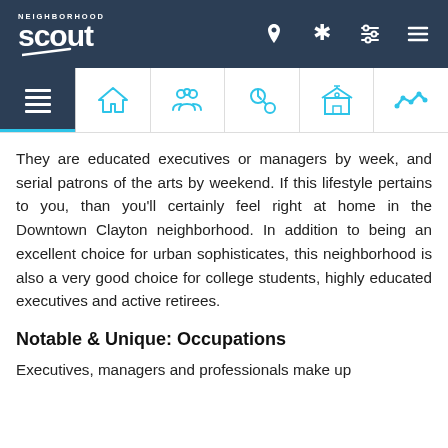Neighborhood Scout
They are educated executives or managers by week, and serial patrons of the arts by weekend. If this lifestyle pertains to you, than you'll certainly feel right at home in the Downtown Clayton neighborhood. In addition to being an excellent choice for urban sophisticates, this neighborhood is also a very good choice for college students, highly educated executives and active retirees.
Notable & Unique: Occupations
Executives, managers and professionals make up